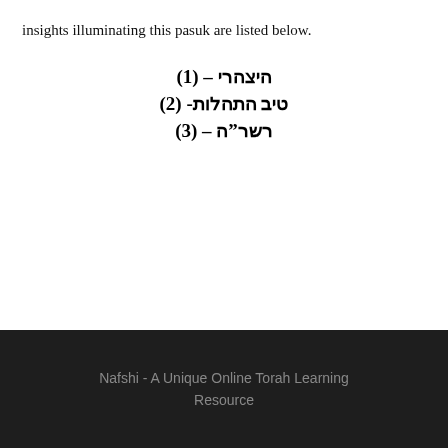insights illuminating this pasuk are listed below.
(1) – היצהרי
(2) -טיב התהלות
(3) – רשר״ה
Nafshi - A Unique Online Torah Learning Resource